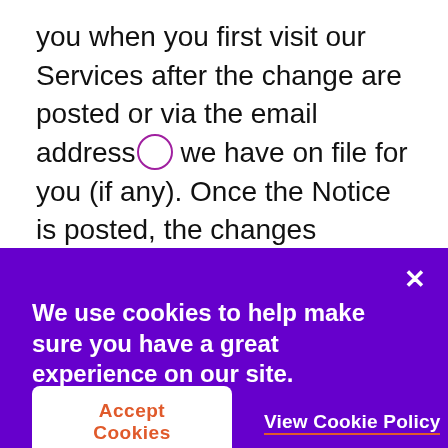you when you first visit our Services after the change are posted or via the email address we have on file for you (if any). Once the Notice is posted, the changes become effective upon your continued use of the Services. We will update the Last Modified date located at the top of this Notice whenever we make changes to the Notice.
We use cookies to help make sure you have a great experience on our site.
Accept Cookies
View Cookie Policy